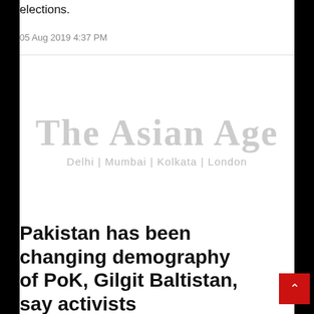elections.
05 Aug 2019 4:37 PM
[Figure (logo): The Asian Age newspaper logo with tagline Delhi | Mumbai | Kolkata | London]
Pakistan has been changing demography of PoK, Gilgit Baltistan, say activists